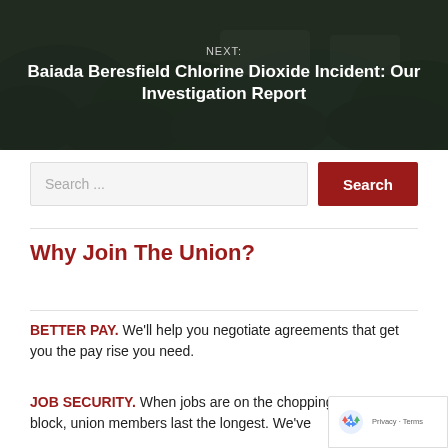[Figure (photo): Dark photo showing vehicles and bushes/hedges in the background with text overlay reading NEXT: Baiada Beresfield Chlorine Dioxide Incident: Our Investigation Report]
Search ...
Why Join The Union?
BETTER PAY. We'll help you negotiate agreements that get you the pay rise you need.
JOB SECURITY. When jobs are on the chopping block, union members last the longest. We've